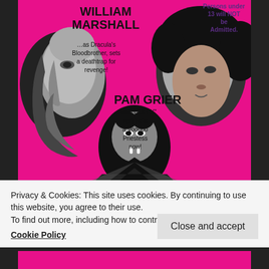[Figure (photo): Movie poster on hot pink background for a blaxploitation horror film. Features black-and-white photos of three actors: a male face on the left side profile, a female face upper right, and a vampire figure center-bottom. Text includes 'WILLIAM MARSHALL ...as Dracula's Bloodbrother, sets a deathtrap for revenge!', a rating stamp 'Persons under 13 will NOT be Admitted', and 'PAM GRIER ...that COFFY spitfire is a Voodoo Priestess now!']
Privacy & Cookies: This site uses cookies. By continuing to use this website, you agree to their use.
To find out more, including how to control cookies, see here:
Cookie Policy
Close and accept
[Figure (photo): Bottom strip showing partial view of another movie poster image with pink and black tones.]